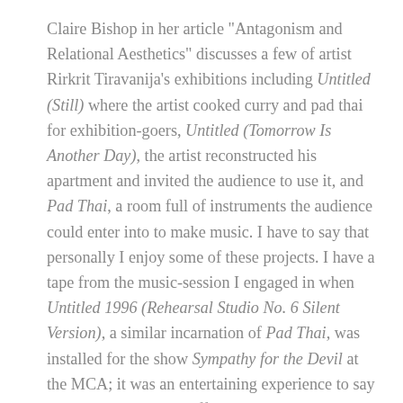Claire Bishop in her article "Antagonism and Relational Aesthetics" discusses a few of artist Rirkrit Tiravanija's exhibitions including Untitled (Still) where the artist cooked curry and pad thai for exhibition-goers, Untitled (Tomorrow Is Another Day), the artist reconstructed his apartment and invited the audience to use it, and Pad Thai, a room full of instruments the audience could enter into to make music. I have to say that personally I enjoy some of these projects. I have a tape from the music-session I engaged in when Untitled 1996 (Rehearsal Studio No. 6 Silent Version), a similar incarnation of Pad Thai, was installed for the show Sympathy for the Devil at the MCA; it was an entertaining experience to say the least. It becomes difficult to determine in these works what is the apparatus or where the apparatus ends – the apparatus being the tool with which we measure; "apparatuses are